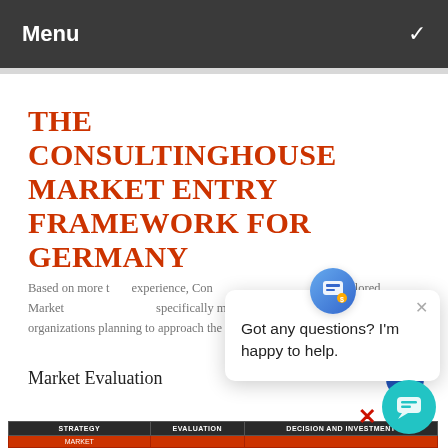Menu
THE CONSULTINGHOUSE MARKET ENTRY FRAMEWORK FOR GERMANY
Based on more than experience, Con a tailored Market specifically meet international organizations planning to approach the German market.
Market Evaluation
[Figure (other): Partial table strip showing STRATEGY, EVALUATION, DECISION AND INVESTMENT column headers with a red row below labeled MARKET]
[Figure (other): Chat popup overlay: avatar icon at top-right, close X button, text reading 'Got any questions? I'm happy to help.']